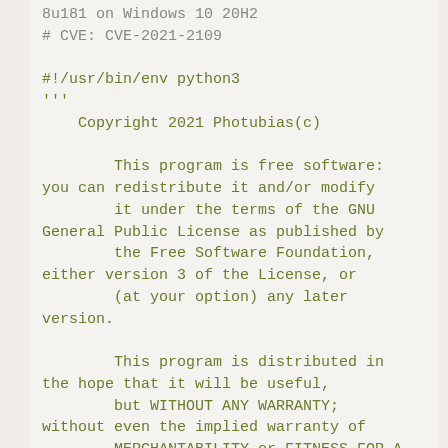8u181 on Windows 10 20H2
# CVE: CVE-2021-2109

#!/usr/bin/env python3
'''
    Copyright 2021 Photubias(c)

        This program is free software: you can redistribute it and/or modify
        it under the terms of the GNU General Public License as published by
        the Free Software Foundation, either version 3 of the License, or
        (at your option) any later version.

        This program is distributed in the hope that it will be useful,
        but WITHOUT ANY WARRANTY; without even the implied warranty of
        MERCHANTABILITY or FITNESS FOR A